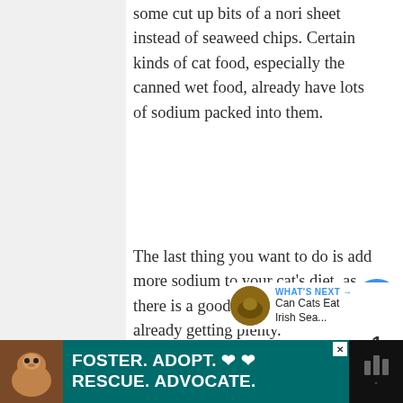some cut up bits of a nori sheet instead of seaweed chips. Certain kinds of cat food, especially the canned wet food, already have lots of sodium packed into them.
The last thing you want to do is add more sodium to your cat's diet, as there is a good chance that they are already getting plenty.
[Figure (other): Like button (heart icon, blue circle), like count of 1, and share button on right sidebar]
[Figure (other): What's Next promo showing a thumbnail and text 'Can Cats Eat Irish Sea...']
[Figure (other): Advertisement banner: Foster. Adopt. Rescue. Advocate. with dog image on dark teal background]